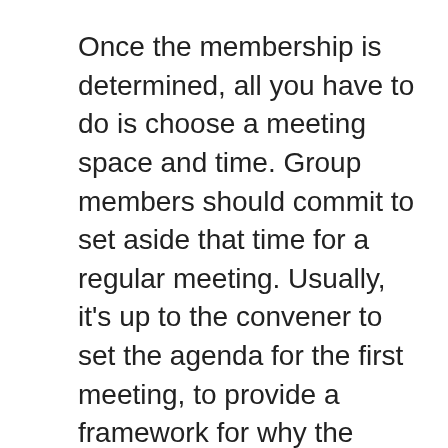Once the membership is determined, all you have to do is choose a meeting space and time. Group members should commit to set aside that time for a regular meeting. Usually, it's up to the convener to set the agenda for the first meeting, to provide a framework for why the group is meeting. The group can decide to read something in common, to react to a quotation, poetry, or particular topics. The agenda is free for you to pursue as you create your communities. Once established, the basic rules of the TMC are collaborative stewardship – no single individual is in charge of the meetings or the process — shared facilitation, confidentiality, and a commitment to creating a different sort of space on campus where the traditional ways of operating do